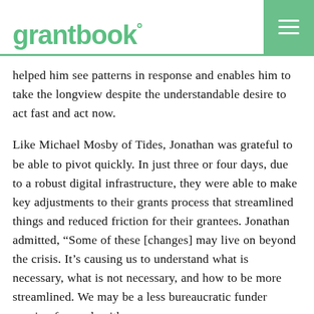grantbook°
helped him see patterns in response and enables him to take the longview despite the understandable desire to act fast and act now.
Like Michael Mosby of Tides, Jonathan was grateful to be able to pivot quickly. In just three or four days, due to a robust digital infrastructure, they were able to make key adjustments to their grants process that streamlined things and reduced friction for their grantees. Jonathan admitted, “Some of these [changes] may live on beyond the crisis. It’s causing us to understand what is necessary, what is not necessary, and how to be more streamlined. We may be a less bureaucratic funder moving forward, with an